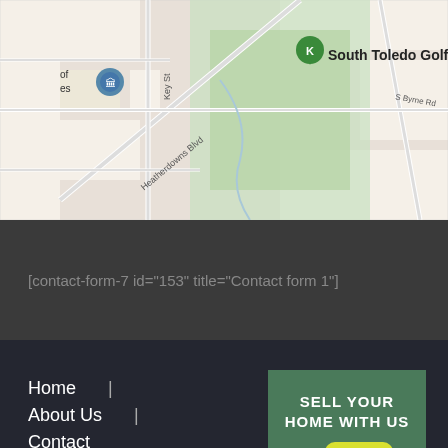[Figure (map): Google Maps screenshot showing South Toledo Golf Club with a green map pin, streets including Heatherdowns Blvd, Key St, S Byrne Rd, and surrounding area.]
[contact-form-7 id="153" title="Contact form 1"]
Home   |
About Us   |
Contact
SELL YOUR HOME WITH US